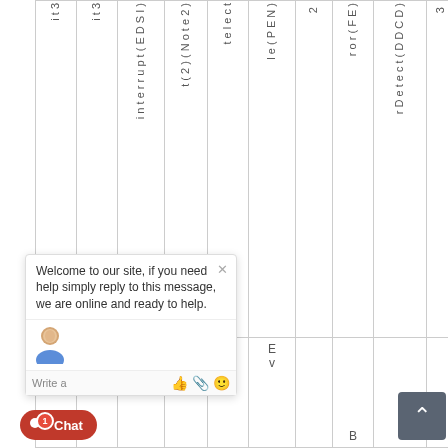| it 3 | it 3 | interrupt(EDSI) | t(2)(Note 2) | telect | le(PEN) | 2 | ror(FE) | rDetect(DDCD) | 3 | 3 | 1 |
| --- | --- | --- | --- | --- | --- | --- | --- | --- | --- | --- | --- |
|  |  |  |  |  | Ev |  | B |  |  |  |  |
Welcome to our site, if you need help simply reply to this message, we are online and ready to help.
Write a